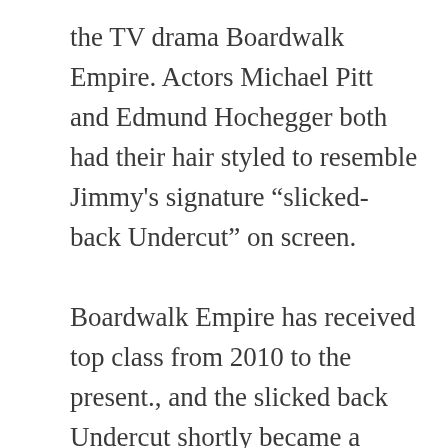the TV drama Boardwalk Empire. Actors Michael Pitt and Edmund Hochegger both had their hair styled to resemble Jimmy's signature “slicked-back Undercut” on screen.

Boardwalk Empire has received top class from 2010 to the present., and the slicked back Undercut shortly became a admired mens hairstyle after Jimmy Darmody haircut appeared in the show. The slick-backed Undercut is notoriously known as the SS haircut given its popularity amongst Germans during Adolf Hitler’s reign in Nazi Germany (it was a popular hairstyle on continental